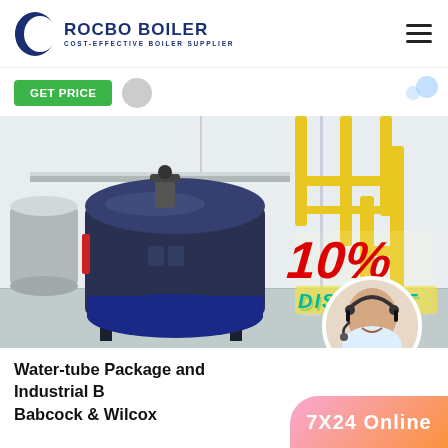ROCBO BOILER — COST-EFFECTIVE BOILER SUPPLIER
[Figure (logo): Rocbo Boiler logo with blue crescent icon and company name]
Get Price
[Figure (photo): Industrial water-tube boiler in a factory, with yellow gas piping and a 10% discount overlay badge, and a customer service agent circle photo]
Water-tube Package and Industrial Boiler Babcock & Wilcox
7X24 Online